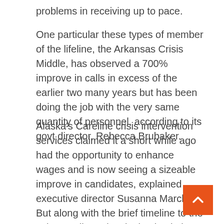problems in receiving up to pace.
One particular these types of member of the lifeline, the Arkansas Crisis Middle, has observed a 700% improve in calls in excess of the earlier two many years but has been doing the job with the very same quantity of personnel, according to its govt director, Rebecca Brubaker.
Alaska's Careline crisis intervention services claimed it a short while ago had the opportunity to enhance wages and is now seeing a sizeable improve in candidates, explained executive director Susanna Marchuk. But along with the brief timeline to the July 16 rollout, developing back the workforce after departures amid the Covid-19 pandemic has offered another challenge.